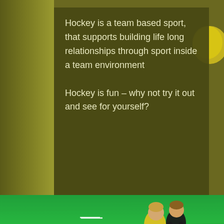[Figure (photo): Hockey field background with olive/dark green tones in the upper half, with a yellow hockey ball visible at top right]
Hockey is a team based sport, that supports building life long relationships through sport inside a team environment

Hockey is fun – why not try it out and see for yourself?
[Figure (photo): Two female field hockey players competing on a bright green turf field. One player in yellow and green, another in black, both bent over competing for the ball with hockey sticks.]